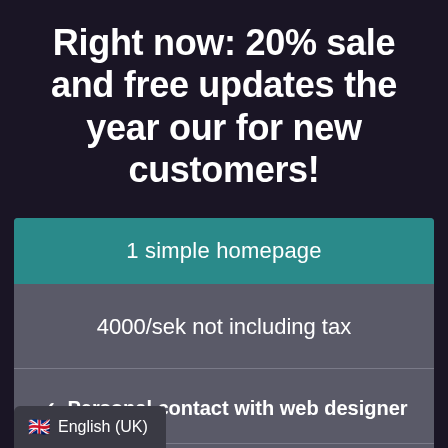Right now: 20% sale and free updates the year our for new customers!
1 simple homepage
4000/sek not including tax
✓ Personal contact with web designer
and functional website
🇬🇧 English (UK)